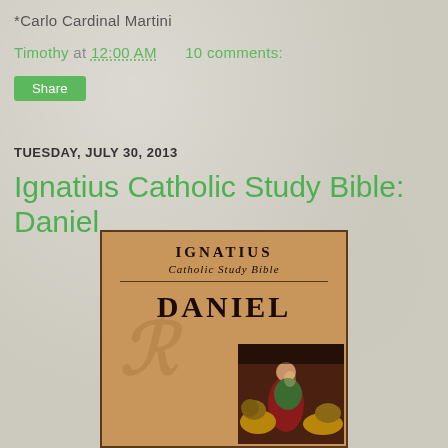*Carlo Cardinal Martini
Timothy at 12:00 AM   10 comments:
Share
TUESDAY, JULY 30, 2013
Ignatius Catholic Study Bible: Daniel
[Figure (photo): Book cover of Ignatius Catholic Study Bible: Daniel, showing a tan/brown cover with the title DANIEL in large letters, an Ignatius Press watermark logo, and a religious painting depicting Daniel in the lions' den.]